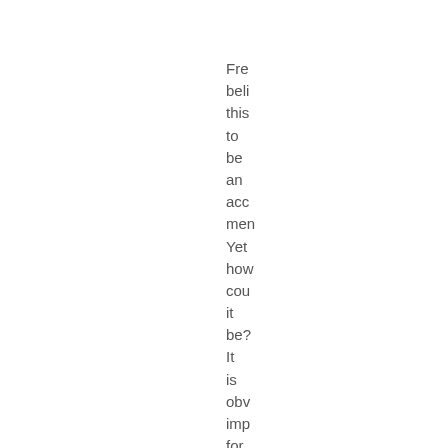Fre beli this to be an acc men Yet how cou it be? It is obv imp for son to